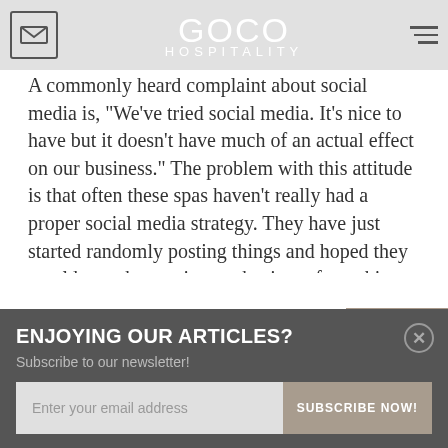GOCO HOSPITALITY
A commonly heard complaint about social media is, "We've tried social media. It's nice to have but it doesn't have much of an actual effect on our business." The problem with this attitude is that often these spas haven't really had a proper social media strategy. They have just started randomly posting things and hoped they would somehow gain new business from this. Maybe the spa manager has just told the already busy receptionist that they need to post something at least twice a week. With this kind of an approach, how could you ever achieve genuine success?
The first step to social media success is to have an actual strategy. So what is involved in this strategy?
[Figure (other): Share Now button with paper airplane icon]
ENJOYING OUR ARTICLES?
Subscribe to our newsletter!
Enter your email address | SUBSCRIBE NOW!